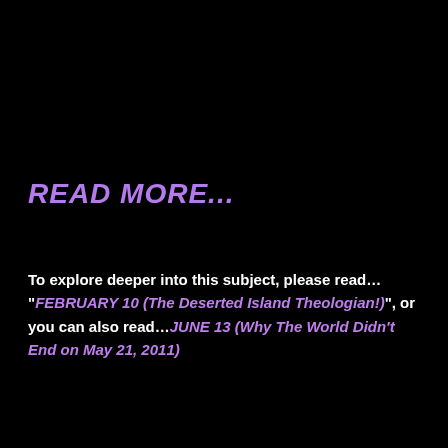READ MORE...
To explore deeper into this subject, please read...  “FEBRUARY 10 (The Deserted Island Theologian!)”, or you can also read...JUNE 13 (Why The World Didn’t End on May 21, 2011)